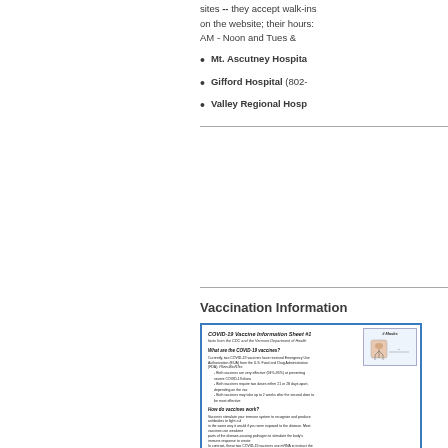sites -- they accept walk-ins on the website; their hours: AM - Noon and Tues &
Mt. Ascutney Hospital
Gifford Hospital (802-
Valley Regional Hosp
Vaccination Information
[Figure (infographic): COVID-19 Vaccine Information Sheet #1 - facts from the CDC and the Vermont Department of Health. Contains sections: What are the COVID-19 vaccines?, How do vaccines work?, Are the COVID-19 vaccines safe? with bullet points and text. Also includes a masking/distancing diagram on the right side.]